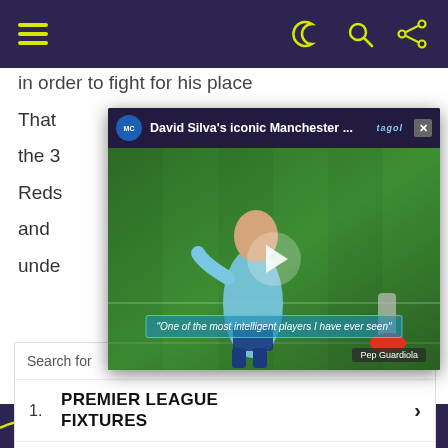Navigation bar with hamburger menu and icons
in order to fight for his place
That ... with the 3... me Reds... s and ... s unde...
[Figure (screenshot): Video popup overlay showing David Silva's iconic Manchester City highlight video with play button and quote 'One of the most intelligent players I have ever seen' - Pep Guardiola]
Search for
1. PREMIER LEAGUE FIXTURES
2. PREMIER LEAGUE TEAMS
DEALS ON PREMIER
Bottom navigation bar with wave graphic and close button